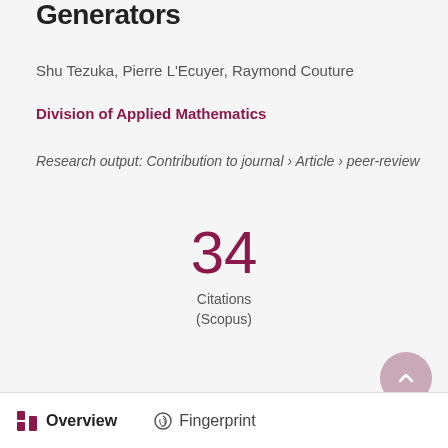Generators
Shu Tezuka, Pierre L'Ecuyer, Raymond Couture
Division of Applied Mathematics
Research output: Contribution to journal › Article › peer-review
34 Citations (Scopus)
Overview   Fingerprint